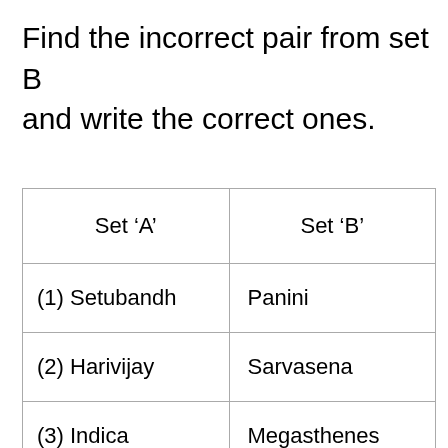Find the incorrect pair from set B and write the correct ones.
| Set ‘A’ | Set ‘B’ |
| --- | --- |
| (1) Setubandh | Panini |
| (2) Harivijay | Sarvasena |
| (3) Indica | Megasthenes |
| (4) Sangit Ratnakar | Sharangdev |